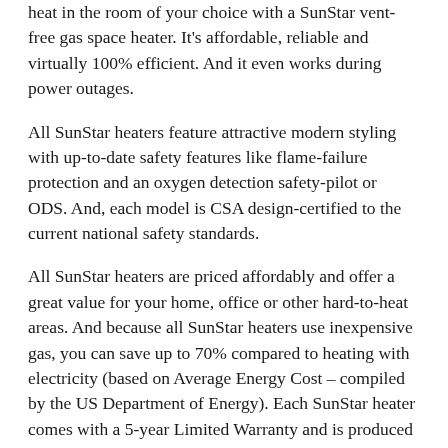heat in the room of your choice with a SunStar vent-free gas space heater. It's affordable, reliable and virtually 100% efficient. And it even works during power outages.
All SunStar heaters feature attractive modern styling with up-to-date safety features like flame-failure protection and an oxygen detection safety-pilot or ODS. And, each model is CSA design-certified to the current national safety standards.
All SunStar heaters are priced affordably and offer a great value for your home, office or other hard-to-heat areas. And because all SunStar heaters use inexpensive gas, you can save up to 70% compared to heating with electricity (based on Average Energy Cost – compiled by the US Department of Energy). Each SunStar heater comes with a 5-year Limited Warranty and is produced by the world's largest manufacturer of vent-free space heaters. So, choose SunStar